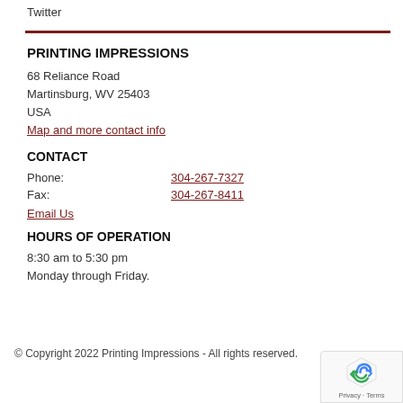Twitter
PRINTING IMPRESSIONS
68 Reliance Road
Martinsburg, WV 25403
USA
Map and more contact info
CONTACT
| Phone: | 304-267-7327 |
| Fax: | 304-267-8411 |
Email Us
HOURS OF OPERATION
8:30 am to 5:30 pm
Monday through Friday.
© Copyright 2022 Printing Impressions - All rights reserved.